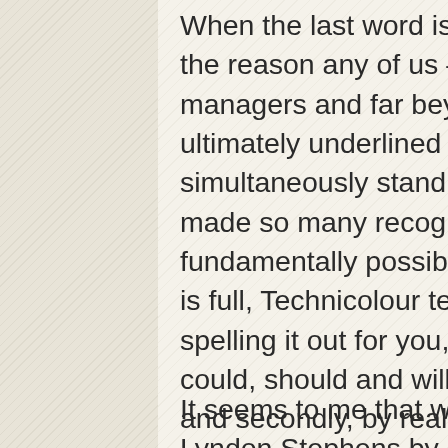When the last word is said and the final note rings out, the reason any of us – musicians, music writers, managers and far beyond – enter this industry is ultimately underlined by a primal desire to simultaneously stand out and belong. That Lyndon made so many recognise that that was not only fundamentally possible but also something to strive for is full, Technicolour testament to his impact. Without spelling it out for you, he made it patently clear: you could, should and will do it, first simply by wanting to and secondly, by realising you cannot ever go it on your own. Tonight offered full confirmation of that.
It seems to me that we can all honour the memory of Lyndon Stephens by doing one very simple thing: looking forward. Simple in theory, tricky in practice. If you